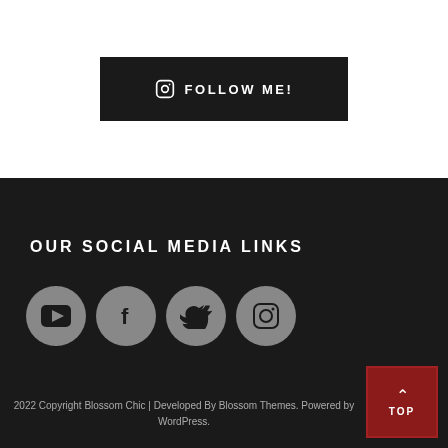[Figure (illustration): Instagram Follow Me button — dark rectangle with Instagram icon and FOLLOW ME! text in white uppercase letters]
OUR SOCIAL MEDIA LINKS
[Figure (illustration): Four social media icons in grey circles: YouTube, Facebook, Twitter, Instagram]
2022 Copyright Blossom Chic | Developed By Blossom Themes. Powered by WordPress.